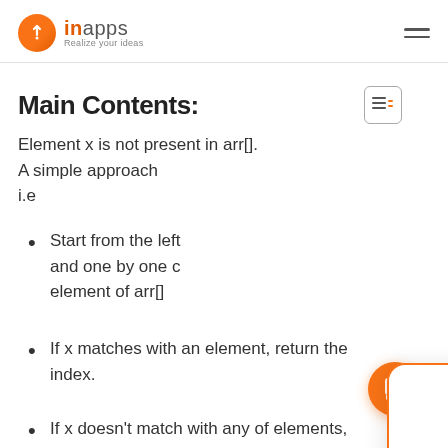InApps — Realize your ideas
Main Contents:
Element x is not present in arr[]. A simple approach i.e
Start from the left and one by one compare element of arr[]
If x matches with an element, return the index.
If x doesn't match with any of elements,
[Figure (other): Chat popup widget showing Ms. Chi avatar and message: We have satisfied hundreds of global customers with service experience and assurance in software development. Let us serve you.]